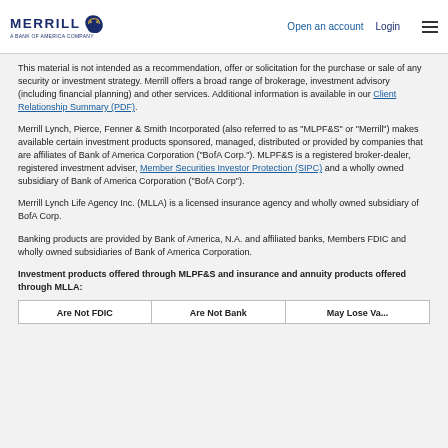Merrill | A Bank of America Company — Open an account | Login
This material is not intended as a recommendation, offer or solicitation for the purchase or sale of any security or investment strategy. Merrill offers a broad range of brokerage, investment advisory (including financial planning) and other services. Additional information is available in our Client Relationship Summary (PDF).
Merrill Lynch, Pierce, Fenner & Smith Incorporated (also referred to as "MLPF&S" or "Merrill") makes available certain investment products sponsored, managed, distributed or provided by companies that are affiliates of Bank of America Corporation ("BofA Corp."). MLPF&S is a registered broker-dealer, registered investment adviser, Member Securities Investor Protection (SIPC) and a wholly owned subsidiary of Bank of America Corporation ("BofA Corp").
Merrill Lynch Life Agency Inc. (MLLA) is a licensed insurance agency and wholly owned subsidiary of BofA Corp.
Banking products are provided by Bank of America, N.A. and affiliated banks, Members FDIC and wholly owned subsidiaries of Bank of America Corporation.
Investment products offered through MLPF&S and insurance and annuity products offered through MLLA:
| Are Not FDIC | Are Not Bank | May Lose Va... |
| --- | --- | --- |
| Are Not FDIC | Are Not Bank | May Lose Va... |